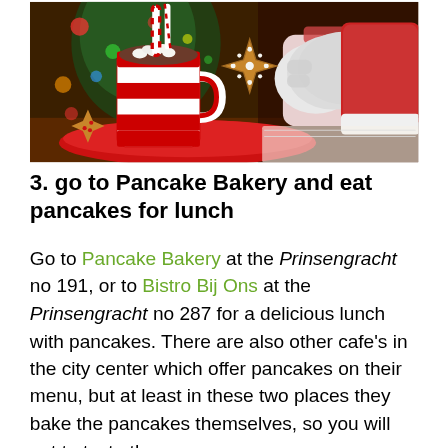[Figure (photo): A Christmas-themed photo showing a red and white striped mug with hot chocolate, candy canes, marshmallows, and gingerbread cookies on a red plate, with a Santa Claus gloved hand holding a snowflake-shaped gingerbread cookie. A decorated Christmas tree with colorful lights is visible in the background.]
3. go to Pancake Bakery and eat pancakes for lunch
Go to Pancake Bakery at the Prinsengracht no 191, or to Bistro Bij Ons at the Prinsengracht no 287 for a delicious lunch with pancakes. There are also other cafe's in the city center which offer pancakes on their menu, but at least in these two places they bake the pancakes themselves, so you will get to taste the